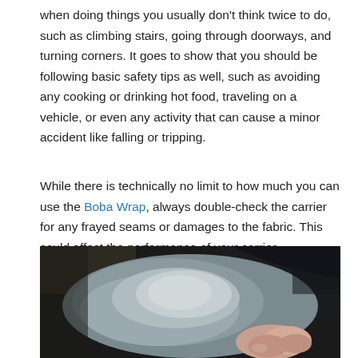when doing things you usually don't think twice to do, such as climbing stairs, going through doorways, and turning corners. It goes to show that you should be following basic safety tips as well, such as avoiding any cooking or drinking hot food, traveling on a vehicle, or even any activity that can cause a minor accident like falling or tripping.
While there is technically no limit to how much you can use the Boba Wrap, always double-check the carrier for any frayed seams or damages to the fabric. This could affect the performance of your carrier.
[Figure (photo): Close-up photograph of a baby in a grey outfit being held, with the baby's small hands and feet visible against a dark background.]